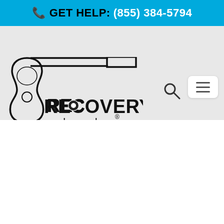GET HELP: (855) 384-5794
[Figure (logo): Recovery Unplugged logo — guitar outline with text 'RECOVERY unplugged®']